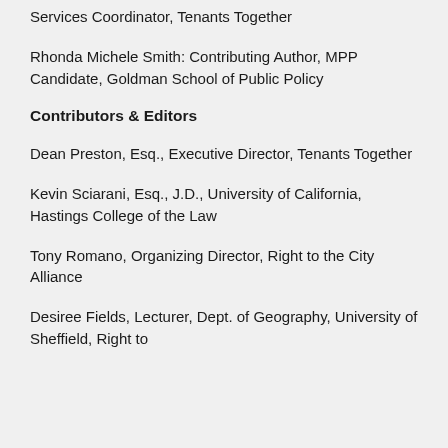Services Coordinator, Tenants Together
Rhonda Michele Smith: Contributing Author, MPP Candidate, Goldman School of Public Policy
Contributors & Editors
Dean Preston, Esq., Executive Director, Tenants Together
Kevin Sciarani, Esq., J.D., University of California, Hastings College of the Law
Tony Romano, Organizing Director, Right to the City Alliance
Desiree Fields, Lecturer, Dept. of Geography, University of Sheffield, Right to